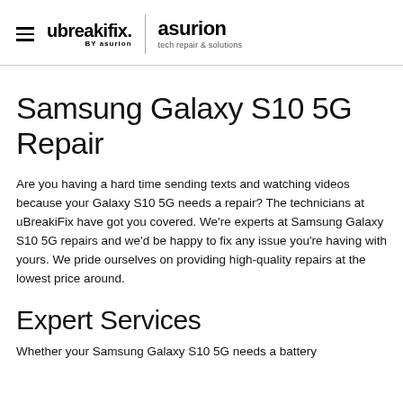ubreakifix. by asurion | asurion tech repair & solutions
Samsung Galaxy S10 5G Repair
Are you having a hard time sending texts and watching videos because your Galaxy S10 5G needs a repair? The technicians at uBreakiFix have got you covered. We're experts at Samsung Galaxy S10 5G repairs and we'd be happy to fix any issue you're having with yours. We pride ourselves on providing high-quality repairs at the lowest price around.
Expert Services
Whether your Samsung Galaxy S10 5G needs a battery